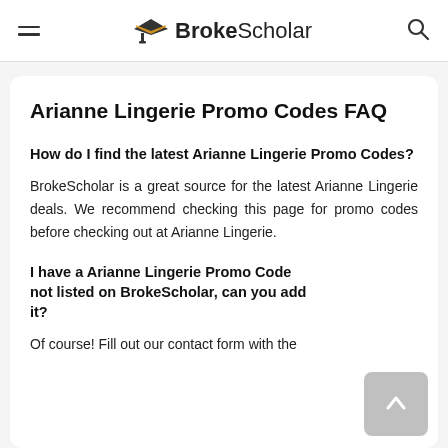BrokeScholar
Arianne Lingerie Promo Codes FAQ
How do I find the latest Arianne Lingerie Promo Codes?
BrokeScholar is a great source for the latest Arianne Lingerie deals. We recommend checking this page for promo codes before checking out at Arianne Lingerie.
I have a Arianne Lingerie Promo Code not listed on BrokeScholar, can you add it?
Of course! Fill out our contact form with the